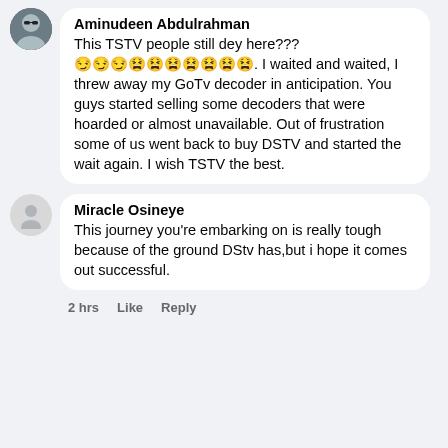Aminudeen Abdulrahman
This TSTV people still dey here??? 😏😏😏😫😫😫😫😫😫😫. I waited and waited, I threw away my GoTv decoder in anticipation. You guys started selling some decoders that were hoarded or almost unavailable. Out of frustration some of us went back to buy DSTV and started the wait again. I wish TSTV the best.
Miracle Osineye
This journey you're embarking on is really tough because of the ground DStv has,but i hope it comes out successful.
2 hrs   Like   Reply